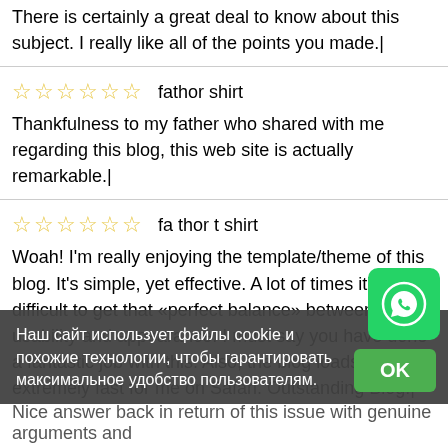There is certainly a great deal to know about this subject. I really like all of the points you made.|
☆☆☆☆☆☆  fathor shirt
Thankfulness to my father who shared with me regarding this blog, this web site is actually remarkable.|
☆☆☆☆☆☆  fa thor t shirt
Woah! I'm really enjoying the template/theme of this blog. It's simple, yet effective. A lot of times it's difficult to get that «perfect balance» between superb usability and appearance. I must say you have done a fantastic job with this. Also, the blog loads extremely fast for me on Safari. Outstanding Blog!|
Наш сайт использует файлы cookie и похожие технологии, чтобы гарантировать максимальное удобство пользователям.
Nice answer back in return of this issue with genuine arguments and